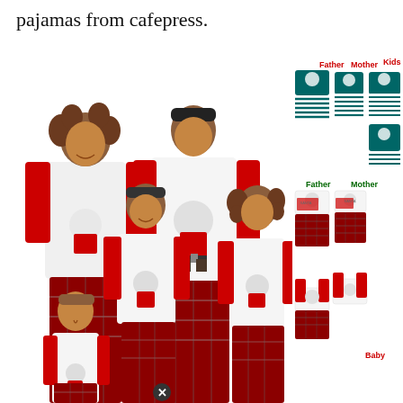pajamas from cafepress.
[Figure (photo): Family of five wearing matching Christmas Santa Claus pajamas with red plaid pants, alongside product images showing Father, Mother, Kids, and Baby pajama sets in two styles: teal/green Santa print with striped pants, and white/red Santa print with plaid pants.]